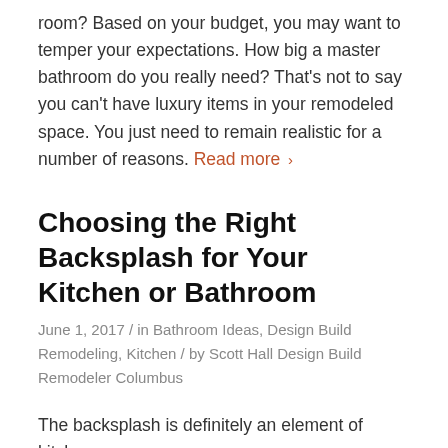room? Based on your budget, you may want to temper your expectations. How big a master bathroom do you really need? That's not to say you can't have luxury items in your remodeled space. You just need to remain realistic for a number of reasons. Read more ›
Choosing the Right Backsplash for Your Kitchen or Bathroom
June 1, 2017 / in Bathroom Ideas, Design Build Remodeling, Kitchen / by Scott Hall Design Build Remodeler Columbus
The backsplash is definitely an element of kitchen